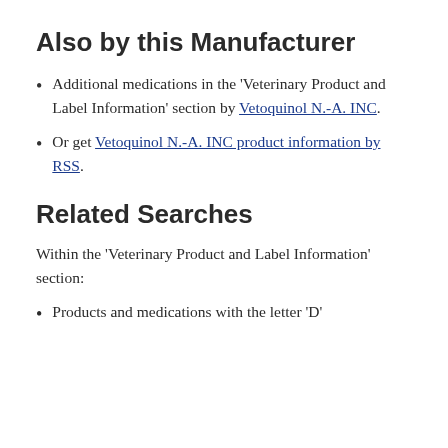Also by this Manufacturer
Additional medications in the ‘Veterinary Product and Label Information’ section by Vetoquinol N.-A. INC.
Or get Vetoquinol N.-A. INC product information by RSS.
Related Searches
Within the ‘Veterinary Product and Label Information’ section:
Products and medications with the letter ‘D’...